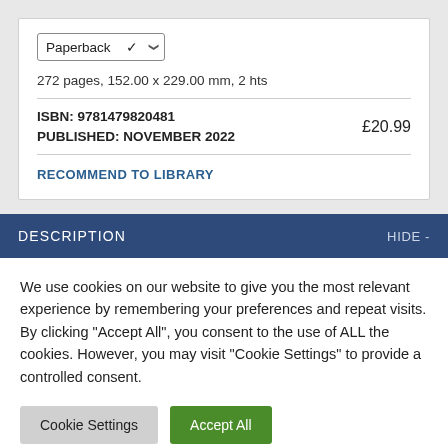Paperback
272 pages, 152.00 x 229.00 mm, 2 hts
ISBN: 9781479820481
PUBLISHED: NOVEMBER 2022
£20.99
RECOMMEND TO LIBRARY
DESCRIPTION
HIDE -
We use cookies on our website to give you the most relevant experience by remembering your preferences and repeat visits. By clicking "Accept All", you consent to the use of ALL the cookies. However, you may visit "Cookie Settings" to provide a controlled consent.
Cookie Settings
Accept All